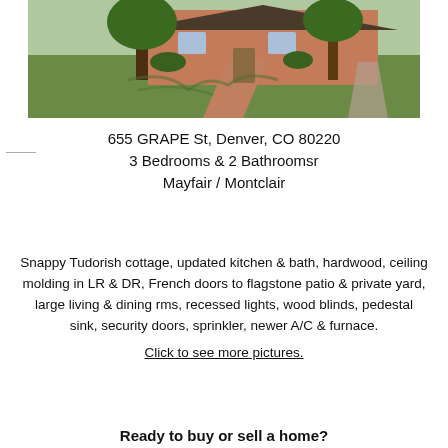[Figure (photo): Exterior photo of a brick Tudor-style cottage with large tree, brick walkway, and green lawn in front yard]
655 GRAPE St, Denver, CO 80220
3 Bedrooms & 2 Bathroomsr
Mayfair / Montclair
Snappy Tudorish cottage, updated kitchen & bath, hardwood, ceiling molding in LR & DR, French doors to flagstone patio & private yard, large living & dining rms, recessed lights, wood blinds, pedestal sink, security doors, sprinkler, newer A/C & furnace.
Click to see more pictures.
Ready to buy or sell a home?